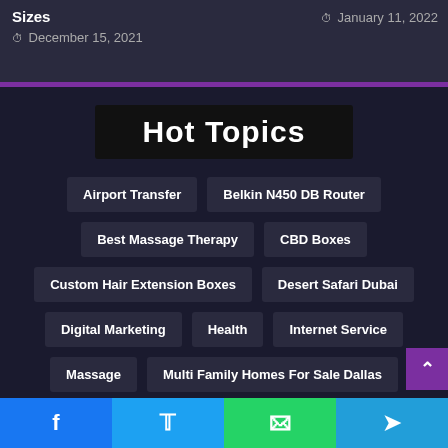Sizes
⏱ January 11, 2022
⏱ December 15, 2021
Hot Topics
Airport Transfer
Belkin N450 DB Router
Best Massage Therapy
CBD Boxes
Custom Hair Extension Boxes
Desert Safari Dubai
Digital Marketing
Health
Internet Service
Massage
Multi Family Homes For Sale Dallas
NFT Marketplace
Office Furniture In Dubai